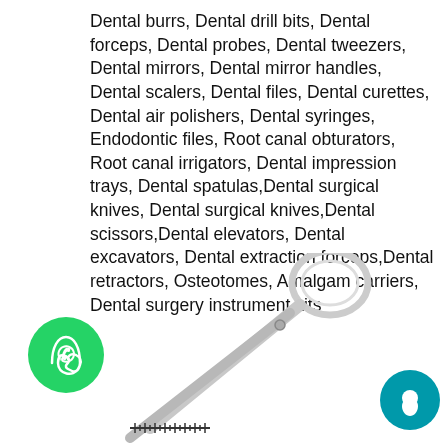Dental burrs, Dental drill bits, Dental forceps, Dental probes, Dental tweezers, Dental mirrors, Dental mirror handles, Dental scalers, Dental files, Dental curettes, Dental air polishers, Dental syringes, Endodontic files, Root canal obturators, Root canal irrigators, Dental impression trays, Dental spatulas,Dental surgical knives, Dental surgical knives,Dental scissors,Dental elevators, Dental excavators, Dental extraction forceps,Dental retractors, Osteotomes, Amalgam carriers, Dental surgery instrument kits
[Figure (photo): Dental scissors / surgical instrument (stainless steel) partially visible at bottom of page, with a WhatsApp chat button (green circle with phone icon) on the lower left and a chat bubble button (teal circle) on the lower right.]